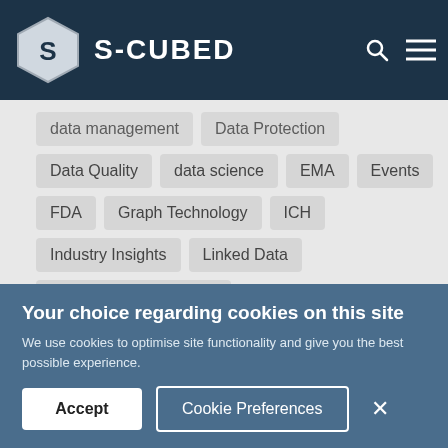S-CUBED
data management
Data Protection
Data Quality
data science
EMA
Events
FDA
Graph Technology
ICH
Industry Insights
Linked Data
Marketing Authorisation
Marketing Authorisation Holder
MDR
Medical Devices
Medical Monitoring
MHRA
Nitrosamines
Pharmacovigilance
PhUSE
Your choice regarding cookies on this site
We use cookies to optimise site functionality and give you the best possible experience.